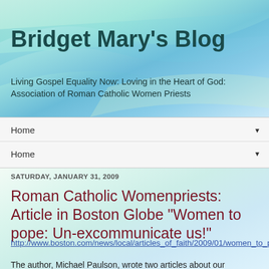Bridget Mary's Blog
Living Gospel Equality Now: Loving in the Heart of God: Association of Roman Catholic Women Priests
Home ▼
Home ▼
SATURDAY, JANUARY 31, 2009
Roman Catholic Womenpriests: Article in Boston Globe "Women to pope: Un-excommunicate us!"
http://www.boston.com/news/local/articles_of_faith/2009/01/women_to_pope_u.html
The author, Michael Paulson, wrote two articles about our